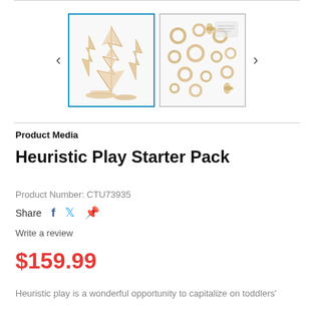[Figure (photo): Two thumbnail images of Heuristic Play Starter Pack wooden toys. First image shows wooden tree-shaped cutouts and flat wooden pieces on white background. Second image shows a collection of various wooden rings, pegs, and small natural wooden objects scattered together.]
Product Media
Heuristic Play Starter Pack
Product Number: CTU73935
Share
Write a review
$159.99
Heuristic play is a wonderful opportunity to capitalize on toddlers'